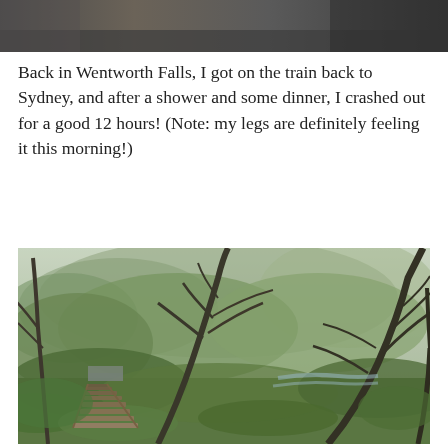[Figure (photo): Partial top edge of a photograph, showing dark brown/grey tones — appears to be the bottom crop of an image above this page section.]
Back in Wentworth Falls, I got on the train back to Sydney, and after a shower and some dinner, I crashed out for a good 12 hours! (Note: my legs are definitely feeling it this morning!)
[Figure (photo): Photograph of a bush walking trail with a wooden boardwalk/bridge in the foreground on the left, surrounded by lush green ferns and shrubs. Tall, slender, dark-barked trees lean and arch overhead. A creek or stream is visible in the background on the right. The scene is misty and overcast, typical of the Blue Mountains area near Wentworth Falls, Australia.]